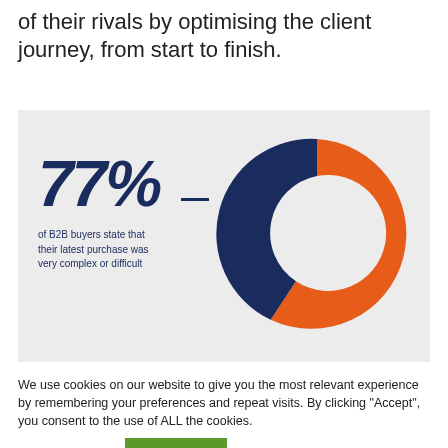of their rivals by optimising the client journey, from start to finish.
[Figure (donut-chart): 77% of B2B buyers state that their latest purchase was very complex or difficult]
We use cookies on our website to give you the most relevant experience by remembering your preferences and repeat visits. By clicking “Accept”, you consent to the use of ALL the cookies.
Cookie settings   ACCEPT